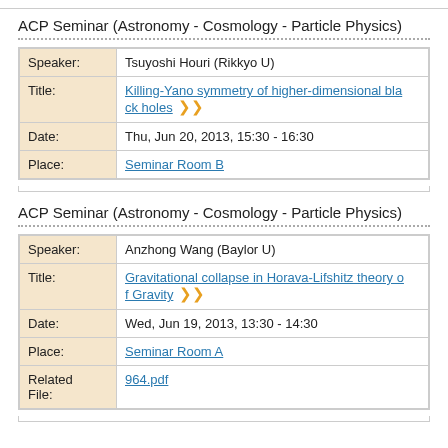ACP Seminar (Astronomy - Cosmology - Particle Physics)
| Field | Value |
| --- | --- |
| Speaker: | Tsuyoshi Houri (Rikkyo U) |
| Title: | Killing-Yano symmetry of higher-dimensional black holes |
| Date: | Thu, Jun 20, 2013, 15:30 - 16:30 |
| Place: | Seminar Room B |
ACP Seminar (Astronomy - Cosmology - Particle Physics)
| Field | Value |
| --- | --- |
| Speaker: | Anzhong Wang (Baylor U) |
| Title: | Gravitational collapse in Horava-Lifshitz theory of Gravity |
| Date: | Wed, Jun 19, 2013, 13:30 - 14:30 |
| Place: | Seminar Room A |
| Related File: | 964.pdf |